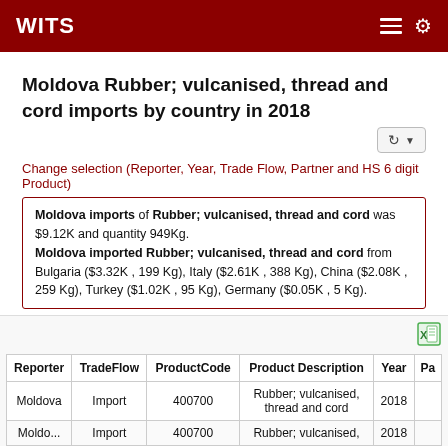WITS
Moldova Rubber; vulcanised, thread and cord imports by country in 2018
Change selection (Reporter, Year, Trade Flow, Partner and HS 6 digit Product)
Moldova imports of Rubber; vulcanised, thread and cord was $9.12K and quantity 949Kg.
Moldova imported Rubber; vulcanised, thread and cord from Bulgaria ($3.32K , 199 Kg), Italy ($2.61K , 388 Kg), China ($2.08K , 259 Kg), Turkey ($1.02K , 95 Kg), Germany ($0.05K , 5 Kg).
| Reporter | TradeFlow | ProductCode | Product Description | Year | Pa |
| --- | --- | --- | --- | --- | --- |
| Moldova | Import | 400700 | Rubber; vulcanised, thread and cord | 2018 |  |
| Moldo... | Import | 400700 | Rubber; vulcanised, | 2018 |  |